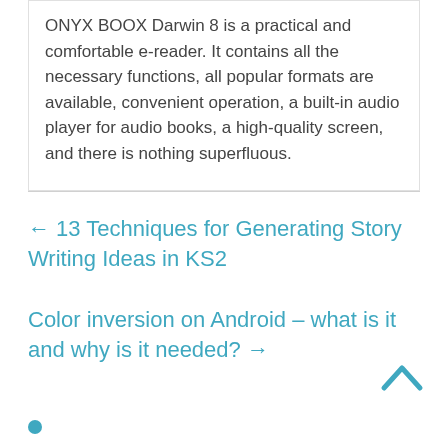ONYX BOOX Darwin 8 is a practical and comfortable e-reader. It contains all the necessary functions, all popular formats are available, convenient operation, a built-in audio player for audio books, a high-quality screen, and there is nothing superfluous.
← 13 Techniques for Generating Story Writing Ideas in KS2
Color inversion on Android – what is it and why is it needed? →